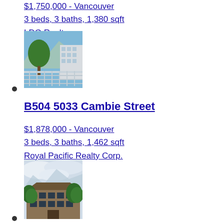$1,750,000 - Vancouver
3 beds, 3 baths, 1,380 sqft
LDG Realty
[Figure (photo): Exterior/balcony photo of a Vancouver condo with trees and mountains in background]
B504 5033 Cambie Street
$1,878,000 - Vancouver
3 beds, 3 baths, 1,462 sqft
Royal Pacific Realty Corp.
[Figure (photo): Exterior photo of a Vancouver condo building with mountains visible in background]